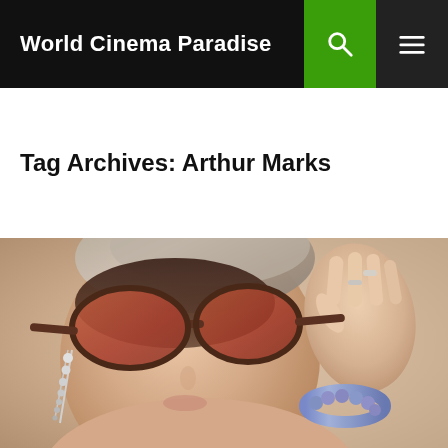World Cinema Paradise
Tag Archives: Arthur Marks
[Figure (photo): Woman wearing large tinted oval sunglasses with tortoiseshell frames, chandelier earrings, and a jeweled bracelet, one hand raised near her face, wearing a hat, vintage fashion photograph]